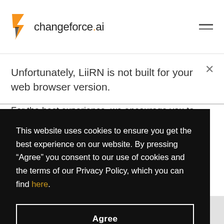changeforce.ai
Unfortunately, LiiRN is not built for your web browser version.
For the best experience, we encourage you to
This website uses cookies to ensure you get the best experience on our website. By pressing “Agree” you consent to our use of cookies and the terms of our Privacy Policy, which you can find here.
Agree
In any way that violates any applicable federal, state, local, or international law or regulation (including, without limitation